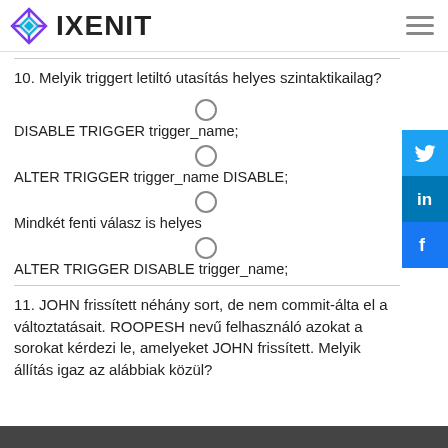IXENIT
10. Melyik triggert letiltó utasítás helyes szintaktikailag?
DISABLE TRIGGER trigger_name;
ALTER TRIGGER trigger_name DISABLE;
Mindkét fenti válasz is helyes
ALTER TRIGGER DISABLE trigger_name;
11. JOHN frissített néhány sort, de nem commit-álta el a változtatásait. ROOPESH nevű felhasználó azokat a sorokat kérdezi le, amelyeket JOHN frissített. Melyik állítás igaz az alábbiak közül?